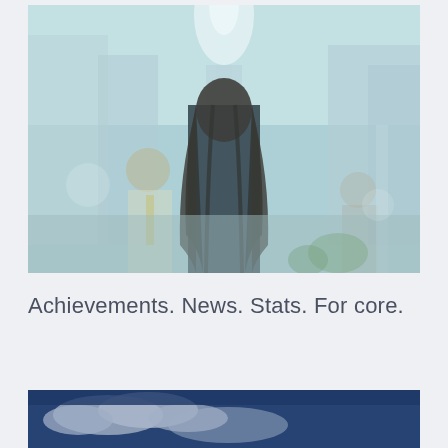[Figure (photo): Double-exposure style photograph of a woman with long dark hair viewed from behind, overlaid with a city skyline featuring a tall skyscraper (resembling the Empire State Building). Busy urban street scene visible in background with blurred figures. Teal/blue color tones with light flare.]
Achievements. News. Stats. For core.
[Figure (photo): Partial view of a photo showing a blue sky with clouds and what appears to be an aerial or landscape view, cropped at the bottom of the page.]